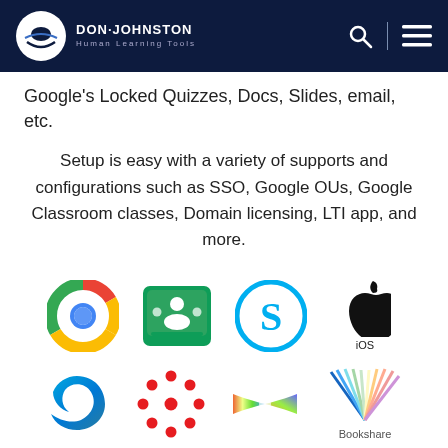Don Johnston — Human Learning Tools
Google's Locked Quizzes, Docs, Slides, email, etc.
Setup is easy with a variety of supports and configurations such as SSO, Google OUs, Google Classroom classes, Domain licensing, LTI app, and more.
[Figure (logo): Row of platform logos: Google Chrome, Google Classroom, Skype/S logo, Apple iOS]
[Figure (logo): Row of platform logos: Microsoft Edge, Canvas/dots logo, Kurzweil bowtie logo, Bookshare]
[Figure (logo): Partial row: one teal square logo at bottom]